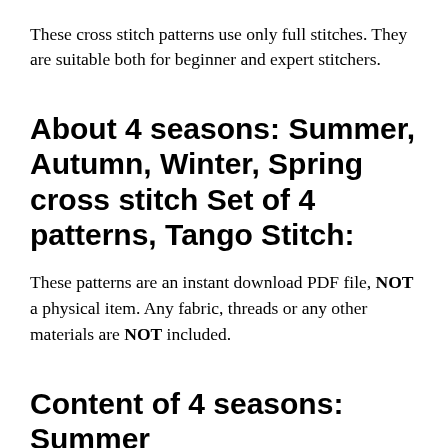These cross stitch patterns use only full stitches. They are suitable both for beginner and expert stitchers.
About 4 seasons: Summer, Autumn, Winter, Spring cross stitch Set of 4 patterns, Tango Stitch:
These patterns are an instant download PDF file, NOT a physical item. Any fabric, threads or any other materials are NOT included.
Content of 4 seasons: Summer